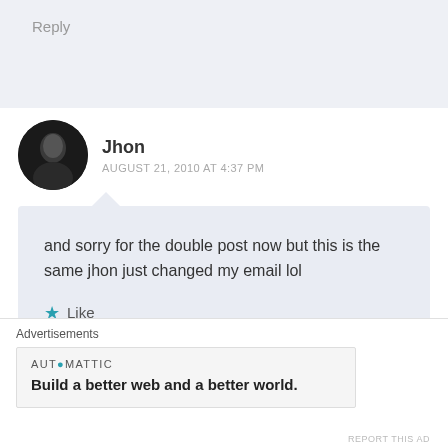Reply
Jhon
AUGUST 21, 2010 AT 4:37 PM
and sorry for the double post now but this is the same jhon just changed my email lol
Like
Reply
Advertisements
AUTOMATTIC
Build a better web and a better world.